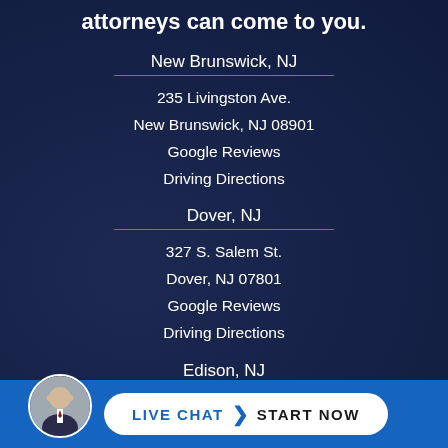attorneys can come to you.
New Brunswick, NJ
235 Livingston Ave.
New Brunswick, NJ 08901
Google Reviews
Driving Directions
Dover, NJ
327 S. Salem St.
Dover, NJ 07801
Google Reviews
Driving Directions
Edison, NJ
[Figure (photo): Circular avatar photo of a male attorney in a suit]
LIVE CHAT  START NOW